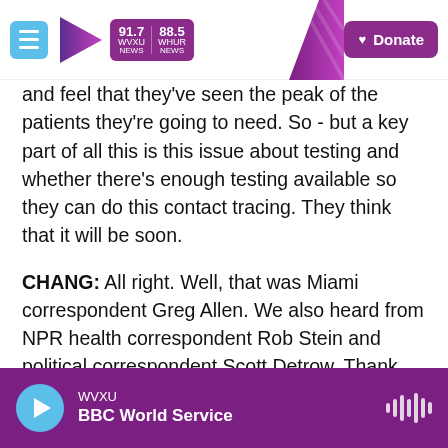WVXU 91.7 NEWS | 88.5 WHUR NEWS | Donate
and feel that they've seen the peak of the patients they're going to need. So - but a key part of all this is this issue about testing and whether there's enough testing available so they can do this contact tracing. They think that it will be soon.
CHANG: All right. Well, that was Miami correspondent Greg Allen. We also heard from NPR health correspondent Rob Stein and political correspondent Scott Detrow. Thank you to all three of you.
STEIN: Sure thing.
WVXU | BBC World Service